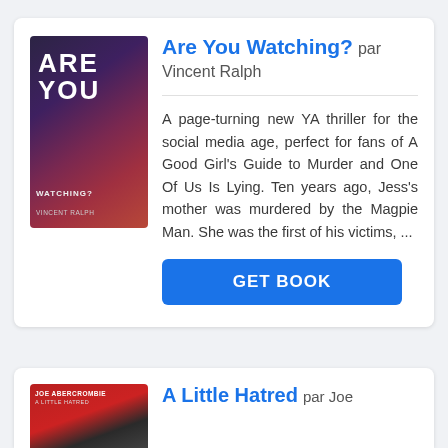[Figure (illustration): Book cover for 'Are You Watching?' by Vincent Ralph — dark purple/red gradient with bold text]
Are You Watching? par Vincent Ralph
A page-turning new YA thriller for the social media age, perfect for fans of A Good Girl's Guide to Murder and One Of Us Is Lying. Ten years ago, Jess's mother was murdered by the Magpie Man. She was the first of his victims, ...
GET BOOK
[Figure (illustration): Book cover for 'A Little Hatred' by Joe Abercrombie — red and dark tones]
A Little Hatred par Joe